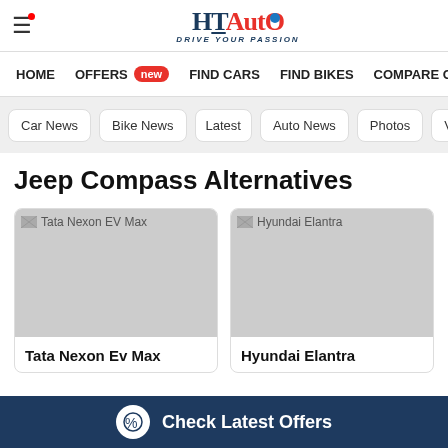HT Auto – Drive Your Passion
HOME
OFFERS new
FIND CARS
FIND BIKES
COMPARE CA
Car News
Bike News
Latest
Auto News
Photos
Videos
Jeep Compass Alternatives
[Figure (photo): Tata Nexon EV Max placeholder image]
Tata Nexon Ev Max
[Figure (photo): Hyundai Elantra placeholder image]
Hyundai Elantra
Check Latest Offers